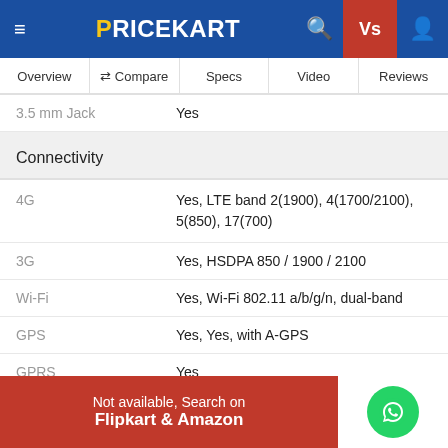PRICEKART
Overview | Compare | Specs | Video | Reviews
| Feature | Value |
| --- | --- |
| 3.5 mm Jack | Yes |
| Connectivity |  |
| 4G | Yes, LTE band 2(1900), 4(1700/2100), 5(850), 17(700) |
| 3G | Yes, HSDPA 850 / 1900 / 2100 |
| Wi-Fi | Yes, Wi-Fi 802.11 a/b/g/n, dual-band |
| GPS | Yes, Yes, with A-GPS |
| GPRS | Yes |
| EDGE | Yes |
| Storage |  |
| Internal Storage | 16 GB |
Not available, Search on Flipkart & Amazon